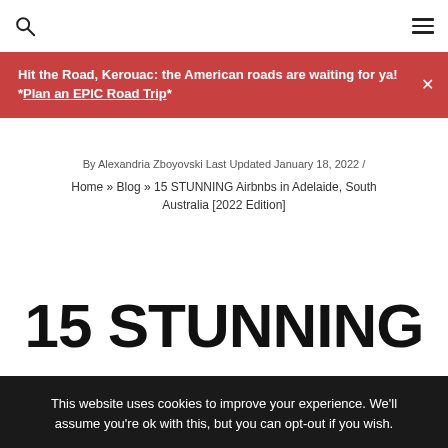Search | Menu
Hit the Road, Kerouac: the American roads are waiting for ya! *Plan an EPIC Road Trip*
By Alexandria Zboyovski Last Updated January 18, 2022 / Home » Blog » 15 STUNNING Airbnbs in Adelaide, South Australia [2022 Edition]
15 STUNNING
This website uses cookies to improve your experience. We'll assume you're ok with this, but you can opt-out if you wish.